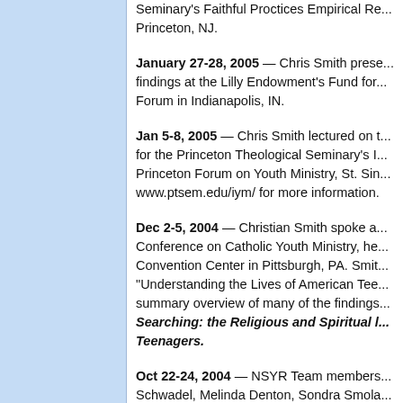Seminary's Faithful Proctices Empirical Research Center, Princeton, NJ.
January 27-28, 2005 — Chris Smith presented findings at the Lilly Endowment's Fund for Theological Education Forum in Indianapolis, IN.
Jan 5-8, 2005 — Chris Smith lectured on findings for the Princeton Theological Seminary's International Princeton Forum on Youth Ministry, St. Simon. See www.ptsem.edu/iym/ for more information.
Dec 2-5, 2004 — Christian Smith spoke at the National Conference on Catholic Youth Ministry, held at the Convention Center in Pittsburgh, PA. Smith's address, "Understanding the Lives of American Teenagers," was a summary overview of many of the findings from Soul Searching: the Religious and Spiritual Lives of American Teenagers.
Oct 22-24, 2004 — NSYR Team members including Philip Schwadel, Melinda Denton, Sondra Smolen, Theresa Cupery, Youn Ok Lee, Richard Flory, David Sikkink, John Bartkowski, Mark Regnerus, Lisa Pearce and others convened four sessions at the annual meeting of the Scientific Study of Religion, Kansas City.